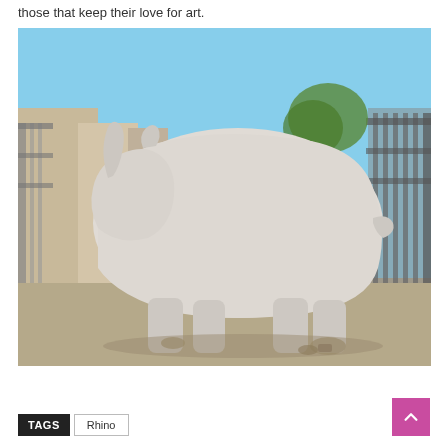those that keep their love for art.
[Figure (photo): A large white stone/concrete sculpture of a rhinoceros outdoors on a paved surface, with a metal fence and urban buildings in the background.]
TAGS   Rhino